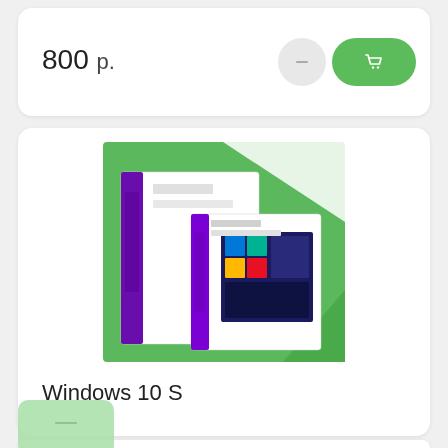800 р.
[Figure (illustration): Windows 10 S software box product image on green background]
Windows 10 S
400 р.